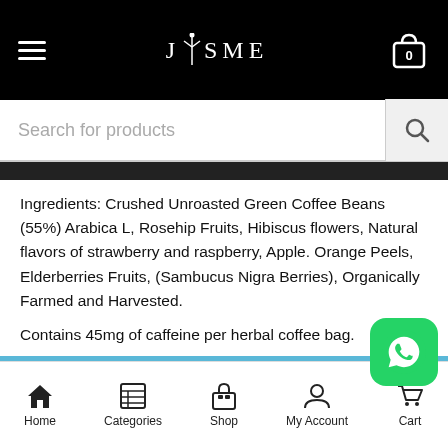JYSME [hamburger menu, cart icon with 0]
Search for products
Ingredients: Crushed Unroasted Green Coffee Beans (55%) Arabica L, Rosehip Fruits, Hibiscus flowers, Natural flavors of strawberry and raspberry, Apple. Orange Peels, Elderberries Fruits, (Sambucus Nigra Berries), Organically Farmed and Harvested.

Contains 45mg of caffeine per herbal coffee bag.
Note: Payments been paused for time being please
Home  Categories  Shop  My Account  Cart